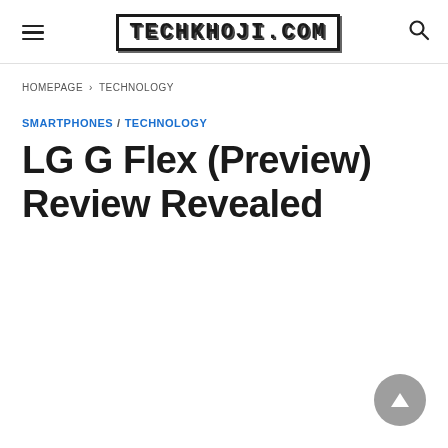TECHKHOJI.COM
HOMEPAGE › TECHNOLOGY
SMARTPHONES / TECHNOLOGY
LG G Flex (Preview) Review Revealed